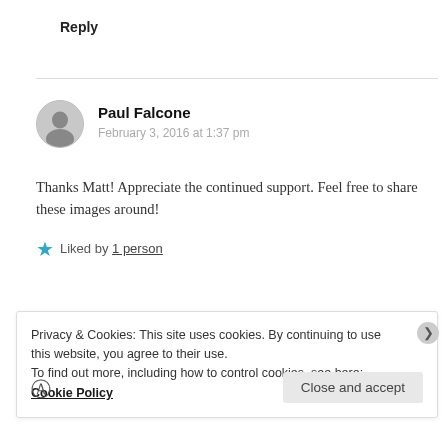Reply
Paul Falcone
February 3, 2016 at 1:37 pm
Thanks Matt! Appreciate the continued support. Feel free to share these images around!
★ Liked by 1 person
Privacy & Cookies: This site uses cookies. By continuing to use this website, you agree to their use.
To find out more, including how to control cookies, see here: Cookie Policy